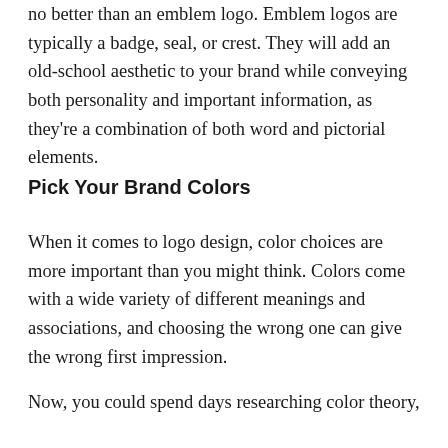no better than an emblem logo. Emblem logos are typically a badge, seal, or crest. They will add an old-school aesthetic to your brand while conveying both personality and important information, as they're a combination of both word and pictorial elements.
Pick Your Brand Colors
When it comes to logo design, color choices are more important than you might think. Colors come with a wide variety of different meanings and associations, and choosing the wrong one can give the wrong first impression.
Now, you could spend days researching color theory, but there are more fun ways to pick it out.